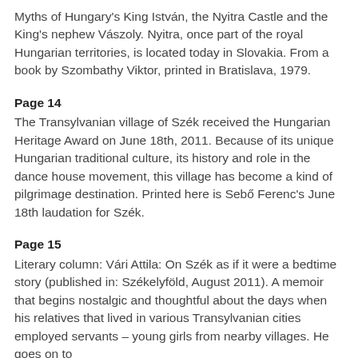Myths of Hungary's King István, the Nyitra Castle and the King's nephew Vászoly. Nyitra, once part of the royal Hungarian territories, is located today in Slovakia. From a book by Szombathy Viktor, printed in Bratislava, 1979.
Page 14
The Transylvanian village of Szék received the Hungarian Heritage Award on June 18th, 2011. Because of its unique Hungarian traditional culture, its history and role in the dance house movement, this village has become a kind of pilgrimage destination. Printed here is Sebő Ferenc's June 18th laudation for Szék.
Page 15
Literary column: Vári Attila: On Szék as if it were a bedtime story (published in: Székelyföld, August 2011). A memoir that begins nostalgic and thoughtful about the days when his relatives that lived in various Transylvanian cities employed servants – young girls from nearby villages. He goes on to